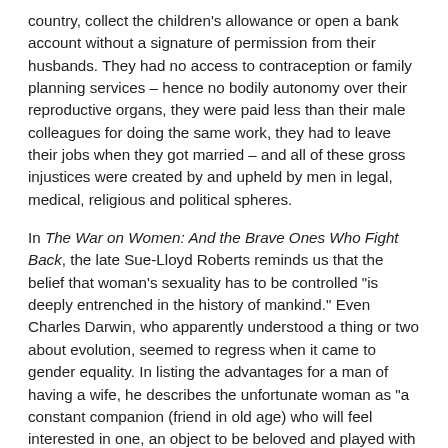country, collect the children's allowance or open a bank account without a signature of permission from their husbands. They had no access to contraception or family planning services – hence no bodily autonomy over their reproductive organs, they were paid less than their male colleagues for doing the same work, they had to leave their jobs when they got married – and all of these gross injustices were created by and upheld by men in legal, medical, religious and political spheres.
In The War on Women: And the Brave Ones Who Fight Back, the late Sue-Lloyd Roberts reminds us that the belief that woman's sexuality has to be controlled "is deeply entrenched in the history of mankind." Even Charles Darwin, who apparently understood a thing or two about evolution, seemed to regress when it came to gender equality. In listing the advantages for a man of having a wife, he describes the unfortunate woman as "a constant companion (friend in old age) who will feel interested in one, an object to be beloved and played with – better than a dog anyhow – and someone to take care of the house." French anthropologist, Gustave Le Bon, advised against providing the same education for girls and boys, and yes, you guessed correctly, the girls pulled the pedagogically short straw. In agreement with men across all of the professions in the nineteenth century, and of course all of the male run religions, he affirmed that women "excel in fickleness